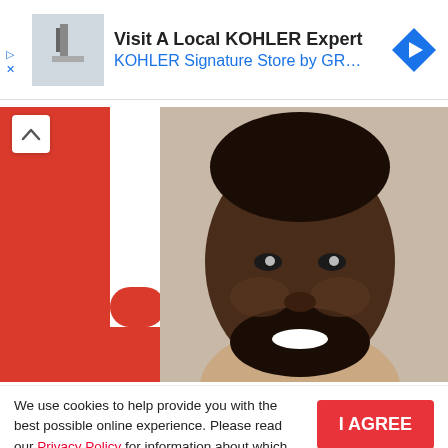[Figure (screenshot): Ad banner: 'Visit A Local KOHLER Expert – KOHLER Signature Store by GR…' with a thumbnail image on the left and a blue diamond navigation icon on the right]
[Figure (photo): Close-up photo of a Black man with a beard smiling, in front of a red background with a white letter U]
We use cookies to help provide you with the best possible online experience. Please read our Privacy Policy for information about which cookies we use and what information we collect on our site. By continuing to use this site, you agree that we may store and access cookies on your device.